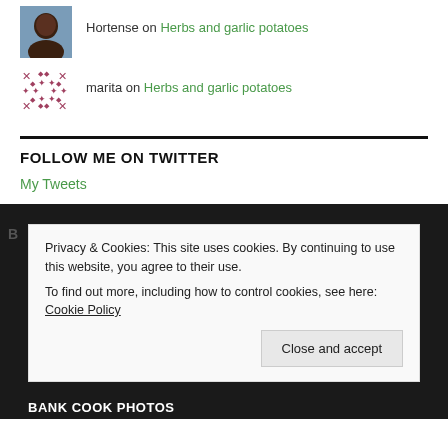Hortense on Herbs and garlic potatoes
marita on Herbs and garlic potatoes
FOLLOW ME ON TWITTER
My Tweets
Privacy & Cookies: This site uses cookies. By continuing to use this website, you agree to their use. To find out more, including how to control cookies, see here: Cookie Policy
Close and accept
BANK COOK PHOTOS